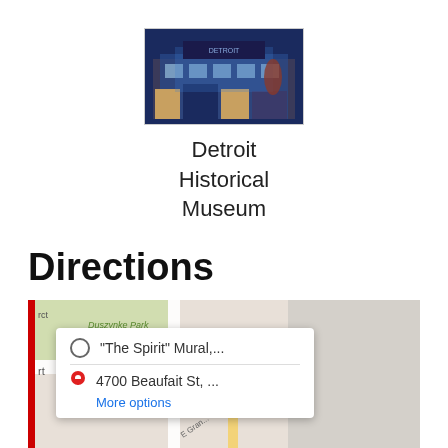[Figure (photo): Photo of Detroit Historical Museum building exterior at night with blue lighting]
Detroit Historical Museum
Directions
[Figure (map): Google Maps screenshot showing directions from 'The Spirit' Mural to 4700 Beaufait St. A popup shows two route points with a 'More options' link in blue.]